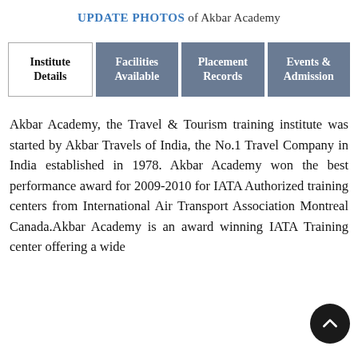UPDATE PHOTOS of Akbar Academy
Institute Details
Facilities Available
Placement Records
Events & Admission
Akbar Academy, the Travel & Tourism training institute was started by Akbar Travels of India, the No.1 Travel Company in India established in 1978. Akbar Academy won the best performance award for 2009-2010 for IATA Authorized training centers from International Air Transport Association Montreal Canada.Akbar Academy is an award winning IATA Training center offering a wide